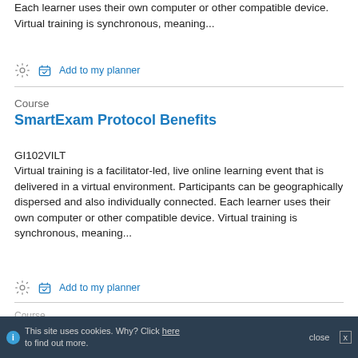Each learner uses their own computer or other compatible device. Virtual training is synchronous, meaning...
Add to my planner
Course
SmartExam Protocol Benefits
GI102VILT
Virtual training is a facilitator-led, live online learning event that is delivered in a virtual environment. Participants can be geographically dispersed and also individually connected. Each learner uses their own computer or other compatible device. Virtual training is synchronous, meaning...
Add to my planner
Course
Color and Spectra...ptimization and
This site uses cookies. Why? Click here to find out more. close x